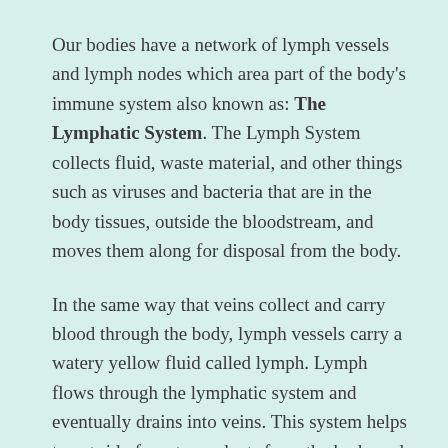Our bodies have a network of lymph vessels and lymph nodes which area part of the body's immune system also known as: The Lymphatic System. The Lymph System collects fluid, waste material, and other things such as viruses and bacteria that are in the body tissues, outside the bloodstream, and moves them along for disposal from the body.
In the same way that veins collect and carry blood through the body, lymph vessels carry a watery yellow fluid called lymph. Lymph flows through the lymphatic system and eventually drains into veins. This system helps to get rid of waste products from the body and to keep things moving along.
The Liver